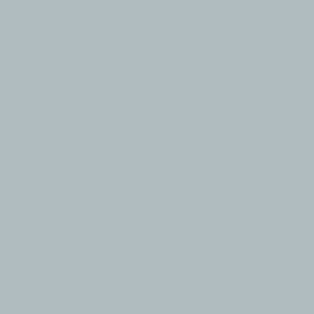snow cover that amplify Arctic... term trend.
http://climate.rutgers.edu/s... ui_set=1&ui_region=nhland... http://climate.rutgers.edu/s... ui_set=1&ui_region=nhland...
In summary, snow cover over the Arctic suggest that th... cool when compared to the d...
Posted by: Rob Dekker | October 0...
[Figure (logo): NJSnowFan avatar - stylized wave pattern in light blue on white background]
NJSnowFan
The Antarctic is the climate ir... The large ice in the Antarctic... another reason. It is very bro... The floes are drifting far to th... In Rothera we had +4 ° C in S... something cold. But otherwise were the avera... in the Antarctic